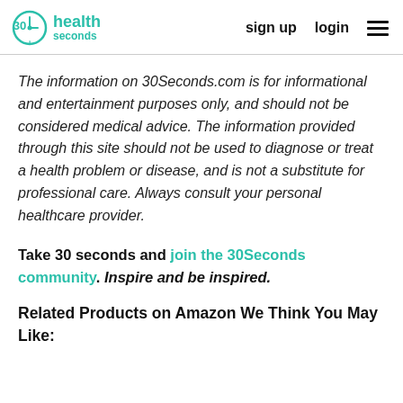30 health seconds — sign up   login   ≡
The information on 30Seconds.com is for informational and entertainment purposes only, and should not be considered medical advice. The information provided through this site should not be used to diagnose or treat a health problem or disease, and is not a substitute for professional care. Always consult your personal healthcare provider.
Take 30 seconds and join the 30Seconds community. Inspire and be inspired.
Related Products on Amazon We Think You May Like: